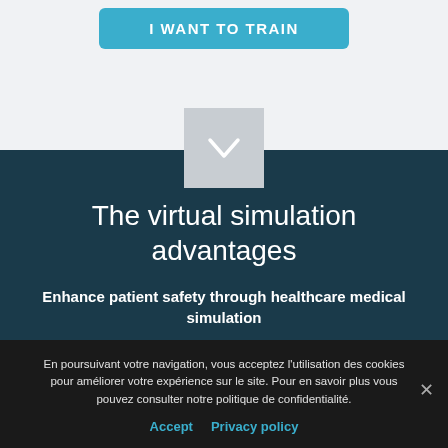[Figure (other): Blue rounded button with text 'I WANT TO TRAIN' on a light gray background]
[Figure (logo): Gray square icon box containing a downward-pointing chevron/triangle outline symbol]
The virtual simulation advantages
Enhance patient safety through healthcare medical simulation
Role-playing simulators allows learners in graduate or
En poursuivant votre navigation, vous acceptez l'utilisation des cookies pour améliorer votre expérience sur le site. Pour en savoir plus vous pouvez consulter notre politique de confidentialité.
Accept  Privacy policy